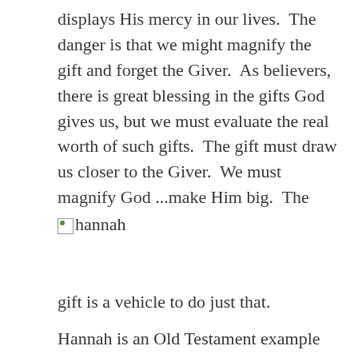displays His mercy in our lives.  The danger is that we might magnify the gift and forget the Giver.  As believers, there is great blessing in the gifts God gives us, but we must evaluate the real worth of such gifts.  The gift must draw us closer to the Giver.  We must magnify God ...make Him big.  The [hannah image] gift is a vehicle to do just that.
[Figure (photo): Broken/missing image with alt text 'hannah']
gift is a vehicle to do just that.
Hannah is an Old Testament example of just this (1